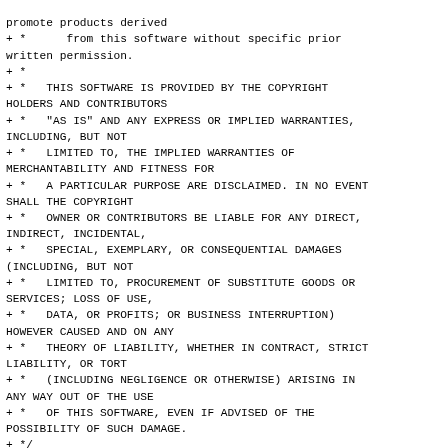promote products derived
+ *      from this software without specific prior written permission.
+ *
+ *   THIS SOFTWARE IS PROVIDED BY THE COPYRIGHT HOLDERS AND CONTRIBUTORS
+ *   "AS IS" AND ANY EXPRESS OR IMPLIED WARRANTIES, INCLUDING, BUT NOT
+ *   LIMITED TO, THE IMPLIED WARRANTIES OF MERCHANTABILITY AND FITNESS FOR
+ *   A PARTICULAR PURPOSE ARE DISCLAIMED. IN NO EVENT SHALL THE COPYRIGHT
+ *   OWNER OR CONTRIBUTORS BE LIABLE FOR ANY DIRECT, INDIRECT, INCIDENTAL,
+ *   SPECIAL, EXEMPLARY, OR CONSEQUENTIAL DAMAGES (INCLUDING, BUT NOT
+ *   LIMITED TO, PROCUREMENT OF SUBSTITUTE GOODS OR SERVICES; LOSS OF USE,
+ *   DATA, OR PROFITS; OR BUSINESS INTERRUPTION) HOWEVER CAUSED AND ON ANY
+ *   THEORY OF LIABILITY, WHETHER IN CONTRACT, STRICT LIABILITY, OR TORT
+ *   (INCLUDING NEGLIGENCE OR OTHERWISE) ARISING IN ANY WAY OUT OF THE USE
+ *   OF THIS SOFTWARE, EVEN IF ADVISED OF THE POSSIBILITY OF SUCH DAMAGE.
+ */
+
+#ifndef _RTE_PREFETCH_TILE_H_
+#define _RTE_PREFETCH_TILE_H_
+